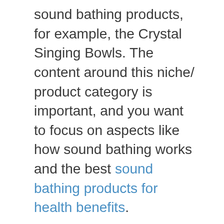sound bathing products, for example, the Crystal Singing Bowls. The content around this niche/ product category is important, and you want to focus on aspects like how sound bathing works and the best sound bathing products for health benefits.
Teas
Besides sound bathing, you could also consider teas as a product niche for you to target.
Teas are super popular and trendy right now, and some would argue that the teas are trendier than coffees, thanks to the health benefits of different teas available on